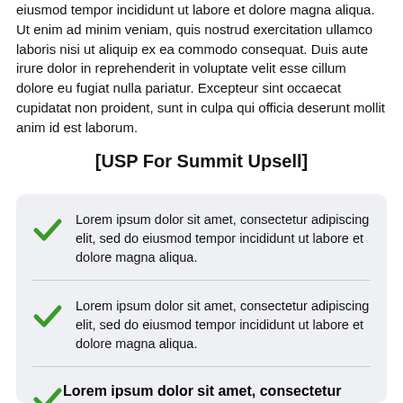eiusmod tempor incididunt ut labore et dolore magna aliqua. Ut enim ad minim veniam, quis nostrud exercitation ullamco laboris nisi ut aliquip ex ea commodo consequat. Duis aute irure dolor in reprehenderit in voluptate velit esse cillum dolore eu fugiat nulla pariatur. Excepteur sint occaecat cupidatat non proident, sunt in culpa qui officia deserunt mollit anim id est laborum.
[USP For Summit Upsell]
Lorem ipsum dolor sit amet, consectetur adipiscing elit, sed do eiusmod tempor incididunt ut labore et dolore magna aliqua.
Lorem ipsum dolor sit amet, consectetur adipiscing elit, sed do eiusmod tempor incididunt ut labore et dolore magna aliqua.
Lorem ipsum dolor sit amet, consectetur